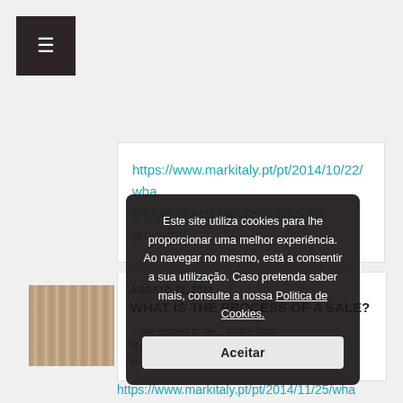[Figure (screenshot): Dark hamburger menu button in top-left corner]
https://www.markitaly.pt/pt/2014/10/22/wha should-i-need-before-renting-my-property/
[Figure (photo): Thumbnail photo of a building/property interior with vertical bars/grid pattern in warm tones]
AGOSTO 21, 2022WHAT IS THE PROCESS OF A SALE?
…are excited to we… to the flock. My… gn knowledge… b: Read More
[Figure (screenshot): Cookie consent overlay dialog in dark background with Portuguese text: Este site utiliza cookies para lhe proporcionar uma melhor experiência. Ao navegar no mesmo, está a consentir a sua utilização. Caso pretenda saber mais, consulte a nossa Politica de Cookies. Button: Aceitar]
https://www.markitaly.pt/pt/2014/11/25/wha